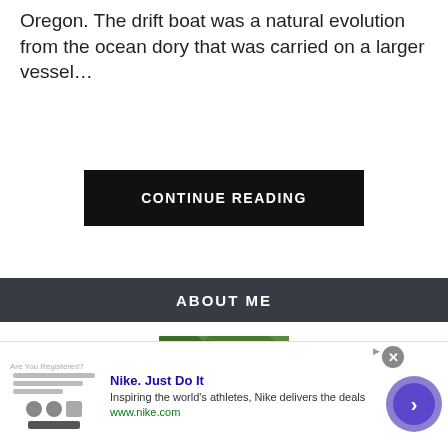Oregon. The drift boat was a natural evolution from the ocean dory that was carried on a larger vessel…
CONTINUE READING
ABOUT ME
[Figure (photo): Portrait photo of a man outdoors with green foliage in background]
Nike. Just Do It
Inspiring the world's athletes, Nike delivers the deals
www.nike.com